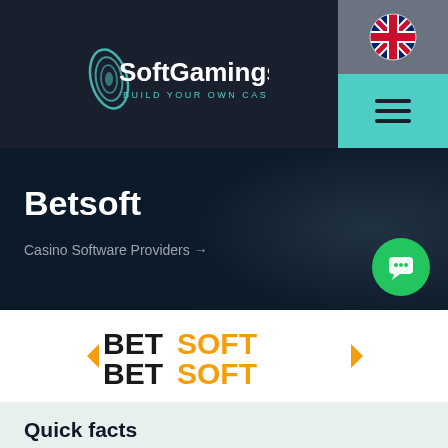[Figure (logo): SoftGamings logo with swirl graphic and tagline BUILD YOUR OWN CASINO on dark navy background]
[Figure (logo): UK flag icon in circular frame in navigation header]
Betsoft
Casino Software Providers →
[Figure (logo): Betsoft logo with BET in black and SOFT in gold/orange, with arrow brackets on each side]
Quick facts
170+ games